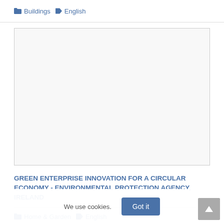Buildings  English
[Figure (other): Blank/empty image card area with light gray background inside a bordered card]
GREEN ENTERPRISE INNOVATION FOR A CIRCULAR ECONOMY - ENVIRONMENTAL PROTECTION AGENCY, IRELAND
Home & Garden  English
We use cookies.  Got it